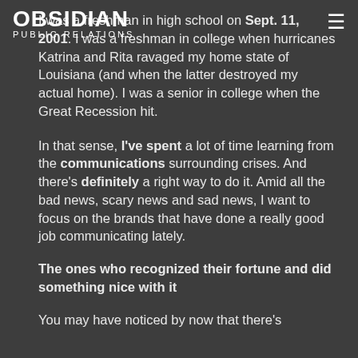OBSIDIAN PUBLIC RELATIONS
I was a freshman in high school on Sept. 11, 2001. I was a freshman in college when hurricanes Katrina and Rita ravaged my home state of Louisiana (and when the latter destroyed my actual home). I was a senior in college when the Great Recession hit.
In that sense, I've spent a lot of time learning from the communications surrounding crises. And there's definitely a right way to do it. Amid all the bad news, scary news and sad news, I want to focus on the brands that have done a really good job communicating lately.
The ones who recognized their fortune and did something nice with it
You may have noticed by now that there's